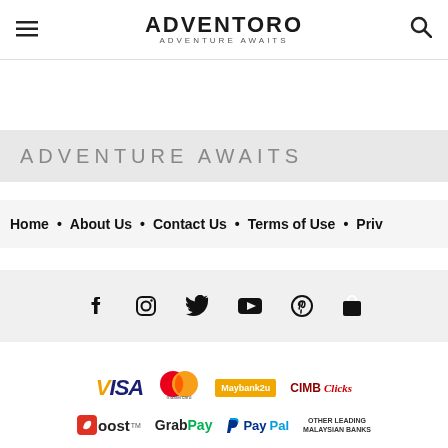ADVENTORO - ADVENTURE AWAITS
ADVENTURE AWAITS
Home • About Us • Contact Us • Terms of Use • Priv
[Figure (infographic): Social media icons: Facebook, Instagram, Twitter, YouTube, Pinterest, Shopping bag]
[Figure (infographic): Payment logos: Visa, Mastercard, Maybank2u, CIMB Clicks, Boost, GrabPay, PayPal, Other Leading Malaysian Banks]